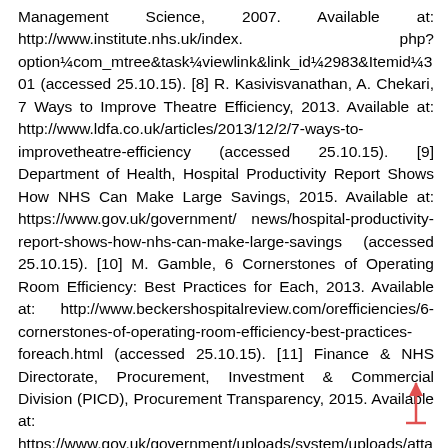Management Science, 2007. Available at: http://www.institute.nhs.uk/index.php?option¼com_mtree&task¼viewlink&link_id¼2983&Itemid¼301 (accessed 25.10.15). [8] R. Kasivisvanathan, A. Chekari, 7 Ways to Improve Theatre Efficiency, 2013. Available at: http://www.ldfa.co.uk/articles/2013/12/2/7-ways-to-improvetheatre-efficiency (accessed 25.10.15). [9] Department of Health, Hospital Productivity Report Shows How NHS Can Make Large Savings, 2015. Available at: https://www.gov.uk/government/ news/hospital-productivity-report-shows-how-nhs-can-make-large-savings (accessed 25.10.15). [10] M. Gamble, 6 Cornerstones of Operating Room Efficiency: Best Practices for Each, 2013. Available at: http://www.beckershospitalreview.com/orefficiencies/6-cornerstones-of-operating-room-efficiency-best-practices-foreach.html (accessed 25.10.15). [11] Finance & NHS Directorate, Procurement, Investment & Commercial Division (PICD), Procurement Transparency, 2015. Available at: https://www.gov.uk/government/uploads/system/uploads/attachment_data/file/417554/ Procurement_Transp_2015-16_acc.pdf